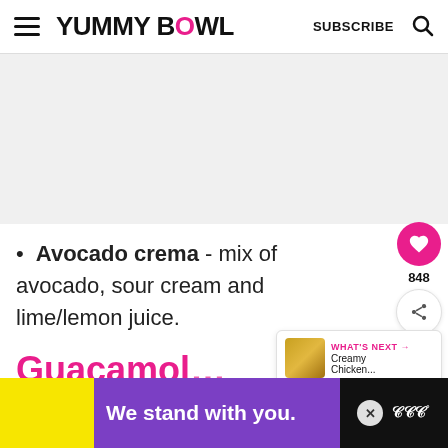YUMMY BOWL  SUBSCRIBE
[Figure (photo): Light gray placeholder image area for a food recipe photo]
Avocado crema - mix of avocado, sour cream and lime/lemon juice.
Guacamo…
[Figure (screenshot): Advertisement banner: We stand with you. with yellow and purple background and Wunderman Thompson logo]